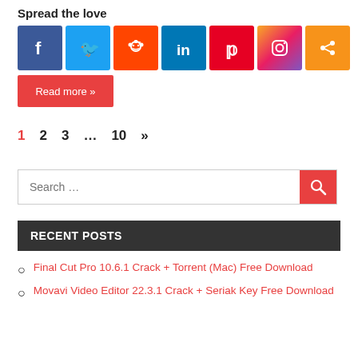Spread the love
[Figure (infographic): Social sharing icons: Facebook (blue), Twitter (light blue), Reddit (orange-red), LinkedIn (blue), Pinterest (red), Instagram (gradient), Share (orange)]
Read more »
1  2  3  ...  10  »
Search …
RECENT POSTS
Final Cut Pro 10.6.1 Crack + Torrent (Mac) Free Download
Movavi Video Editor 22.3.1 Crack + Seriak Key Free Download